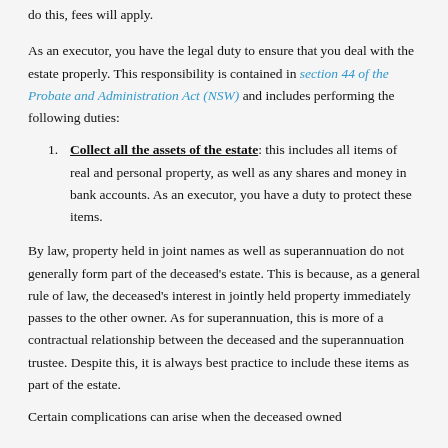do this, fees will apply.
As an executor, you have the legal duty to ensure that you deal with the estate properly. This responsibility is contained in section 44 of the Probate and Administration Act (NSW) and includes performing the following duties:
Collect all the assets of the estate: this includes all items of real and personal property, as well as any shares and money in bank accounts. As an executor, you have a duty to protect these items.
By law, property held in joint names as well as superannuation do not generally form part of the deceased's estate. This is because, as a general rule of law, the deceased's interest in jointly held property immediately passes to the other owner. As for superannuation, this is more of a contractual relationship between the deceased and the superannuation trustee. Despite this, it is always best practice to include these items as part of the estate.
Certain complications can arise when the deceased owned